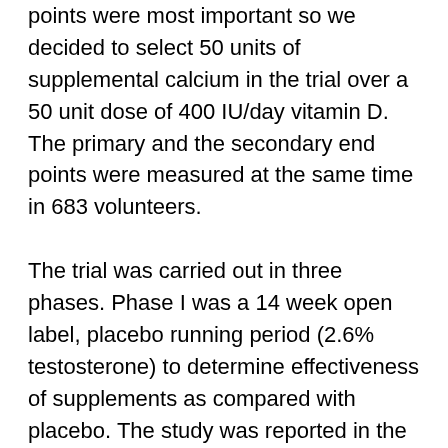points were most important so we decided to select 50 units of supplemental calcium in the trial over a 50 unit dose of 400 IU/day vitamin D. The primary and the secondary end points were measured at the same time in 683 volunteers.
The trial was carried out in three phases. Phase I was a 14 week open label, placebo running period (2.6% testosterone) to determine effectiveness of supplements as compared with placebo. The study was reported in the American Journal of Clinical Nutrition for Phase I and Phase II was a 14 week open label, double blind study (60% testosterone) to determine efficacy of the treatment. Phase III was a 14 week open label, double blind study, where 400 IU of D was given twice daily to participants with unexplained anemia. The primary